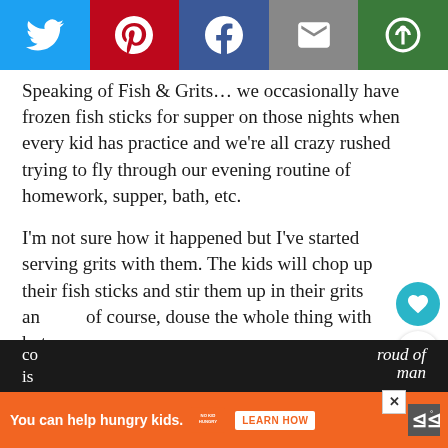[Figure (other): Social sharing bar with Twitter, Pinterest, Facebook, email, and a green share icon buttons]
Speaking of Fish & Grits… we occasionally have frozen fish sticks for supper on those nights when every kid has practice and we're all crazy rushed trying to fly through our evening routine of homework, supper, bath, etc.
I'm not sure how it happened but I've started serving grits with them. The kids will chop up their fish sticks and stir them up in their grits and of course, douse the whole thing with hot sauce
We so country.
PS... this recipe has won so many awards, I've lost count. I'm so proud of it is man